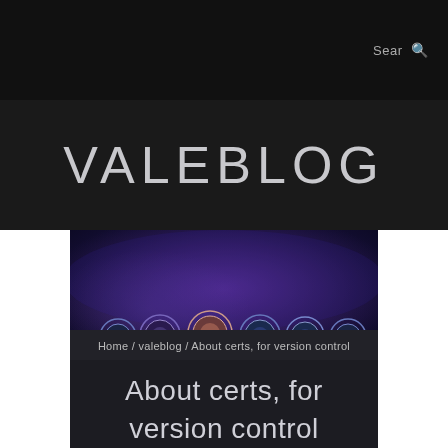Sear
VALEBLOG
[Figure (illustration): Hero banner image with dark blue/purple smoky background and circular badge icons arranged in a row]
Home / valeblog / About certs, for version control
About certs, for version control